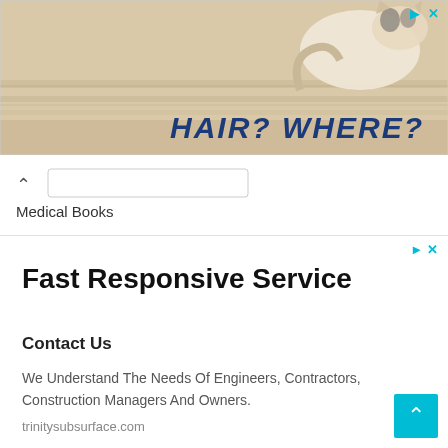[Figure (photo): Advertisement banner with a cat on a wooden floor. Text reads 'HAIR? WHERE?' in bold italic dark blue letters.]
Medical Books
[Figure (screenshot): Advertisement block with play and close icons in top right corner.]
Fast Responsive Service
Contact Us
We Understand The Needs Of Engineers, Contractors, Construction Managers And Owners.
trinitysubsurface.com